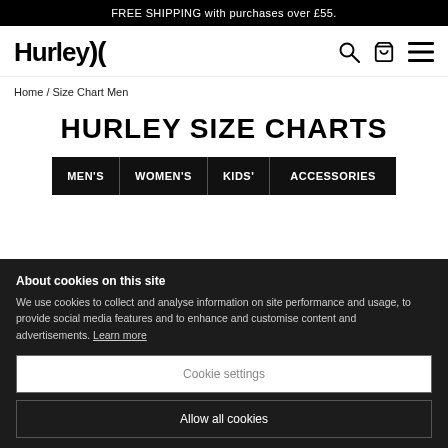FREE SHIPPING with purchases over £55.
[Figure (logo): Hurley logo with stylized swoosh icon]
Home / Size Chart Men
HURLEY SIZE CHARTS
MEN'S | WOMEN'S | KIDS' | ACCESSORIES
About cookies on this site
We use cookies to collect and analyse information on site performance and usage, to provide social media features and to enhance and customise content and advertisements. Learn more
Cookie settings
Allow all cookies